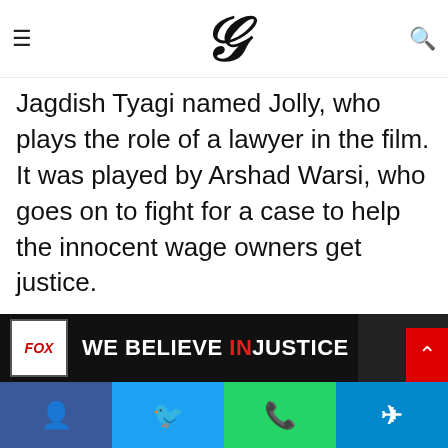G [logo] — navigation bar with hamburger menu and search icon
start … Soman Irani and Arshad Warsi in … s. The movie was directed by Subash … followed the lifestyle of Jagdish Tyagi named Jolly, who plays the role of a lawyer in the film. It was played by Arshad Warsi, who goes on to fight for a case to help the innocent wage owners get justice.
Later, he also fights against judicial corruption and the monopolistic behavior of the robust community. The film was based on a murder case of Priyadarshini Mattoo and about the hit-and-run case of Sanjeev Nanda back in 1999.
[Figure (screenshot): Fox Star Studios banner: white FOX logo box on dark background, bold white text 'WE BELIEVE INJUSTICE' with IN in red, partial dark image on right]
Social share bar: Facebook, Twitter, WhatsApp, Telegram